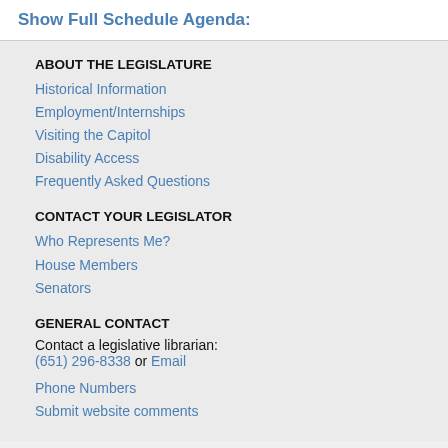Show Full Schedule Agenda:
ABOUT THE LEGISLATURE
Historical Information
Employment/Internships
Visiting the Capitol
Disability Access
Frequently Asked Questions
CONTACT YOUR LEGISLATOR
Who Represents Me?
House Members
Senators
GENERAL CONTACT
Contact a legislative librarian: (651) 296-8338 or Email
Phone Numbers
Submit website comments
GET CONNECTED
House News